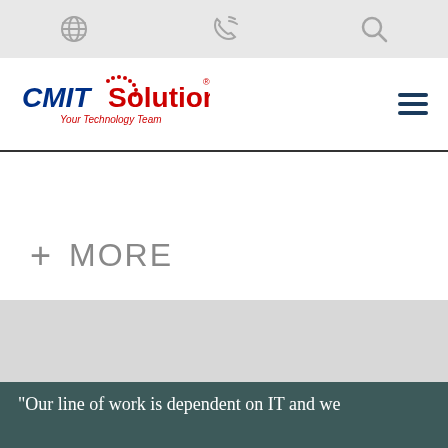Navigation top bar with globe, phone, and search icons
[Figure (logo): CMIT Solutions logo — Your Technology Team]
+ MORE
[Figure (photo): Gray section placeholder area above testimonial photo]
“Our line of work is dependent on IT and we can’t have any do... IT has helped us grow from three employees to 40 and they’ve
GET A QUOTE